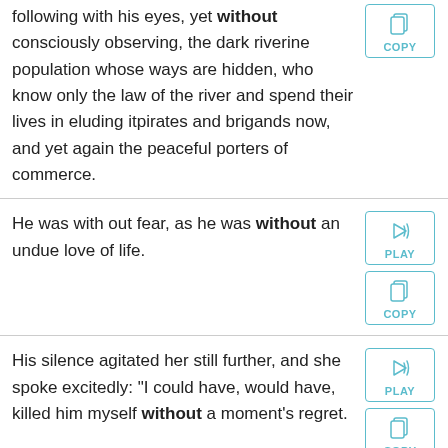following with his eyes, yet without consciously observing, the dark riverine population whose ways are hidden, who know only the law of the river and spend their lives in eluding itpirates and brigands now, and yet again the peaceful porters of commerce.
He was with out fear, as he was without an undue love of life.
His silence agitated her still further, and she spoke excitedly: "I could have, would have, killed him myself without a moment's regret.
I would have taken his life without a thought.